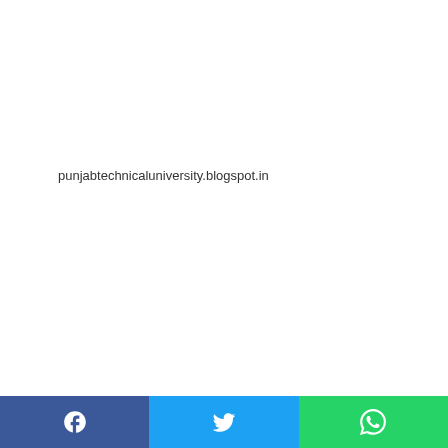punjabtechnicaluniversity.blogspot.in
[Figure (screenshot): MANIFEST window showing .NET assembly MSIL code with .assembly extern mscorlib, .assembly extern System, .assembly extern System.Xml, and .assembly NewsData blocks, each containing .publickeytoken and .ver directives]
[Figure (screenshot): Social share bar at bottom with Facebook, Twitter, and WhatsApp buttons]